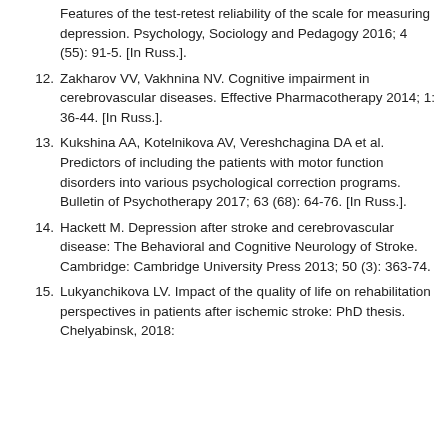Features of the test-retest reliability of the scale for measuring depression. Psychology, Sociology and Pedagogy 2016; 4 (55): 91-5. [In Russ.].
12. Zakharov VV, Vakhnina NV. Cognitive impairment in cerebrovascular diseases. Effective Pharmacotherapy 2014; 1: 36-44. [In Russ.].
13. Kukshina AA, Kotelnikova AV, Vereshchagina DA et al. Predictors of including the patients with motor function disorders into various psychological correction programs. Bulletin of Psychotherapy 2017; 63 (68): 64-76. [In Russ.].
14. Hackett M. Depression after stroke and cerebrovascular disease: The Behavioral and Cognitive Neurology of Stroke. Cambridge: Cambridge University Press 2013; 50 (3): 363-74.
15. Lukyanchikova LV. Impact of the quality of life on rehabilitation perspectives in patients after ischemic stroke: PhD thesis. Chelyabinsk, 2018: